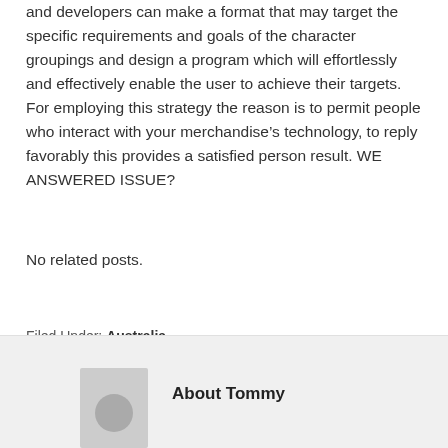and developers can make a format that may target the specific requirements and goals of the character groupings and design a program which will effortlessly and effectively enable the user to achieve their targets. For employing this strategy the reason is to permit people who interact with your merchandise’s technology, to reply favorably this provides a satisfied person result. WE ANSWERED ISSUE?
No related posts.
Filed Under: Australia
About Tommy